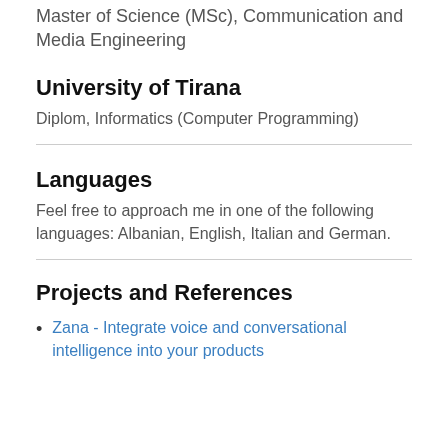Master of Science (MSc), Communication and Media Engineering
University of Tirana
Diplom, Informatics (Computer Programming)
Languages
Feel free to approach me in one of the following languages: Albanian, English, Italian and German.
Projects and References
Zana - Integrate voice and conversational intelligence into your products